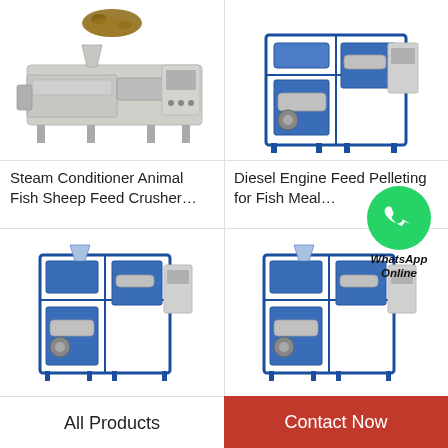[Figure (photo): Steam Conditioner Animal Fish Sheep Feed Crusher machine - industrial silver/grey colored extrusion machine with control panel]
Steam Conditioner Animal Fish Sheep Feed Crusher…
[Figure (photo): Diesel Engine Feed Pelleting for Fish Meal machine - blue industrial pellet machine with control panel and frame]
Diesel Engine Feed Pelleting for Fish Meal…
[Figure (photo): Industrial blue fish feed pelleting machine - lower left product]
[Figure (photo): Industrial blue fish feed pelleting machine - lower right product]
[Figure (illustration): WhatsApp Online badge - green circle with phone icon and text WhatsApp Online]
All Products
Contact Now